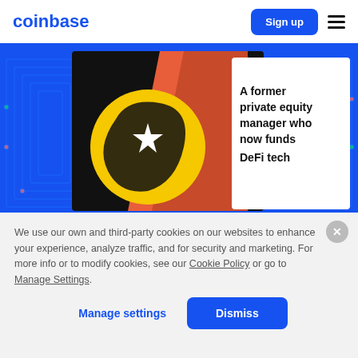coinbase
[Figure (illustration): Coinbase website hero banner with blue background. Left side shows a stylized illustration with a black rectangle containing a yellow circle/sun with a white star, orange diagonal stripes, and colorful circuit-board line patterns on the blue background. Right side shows a white card with bold black text: 'A former private equity manager who now funds DeFi tech']
We use our own and third-party cookies on our websites to enhance your experience, analyze traffic, and for security and marketing. For more info or to modify cookies, see our Cookie Policy or go to Manage Settings.
Manage settings  Dismiss